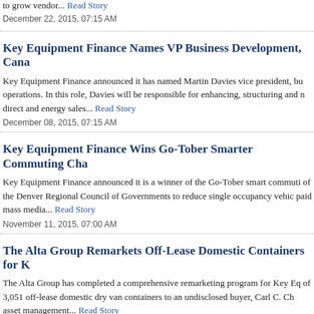to grow vendor... Read Story
December 22, 2015, 07:15 AM
Key Equipment Finance Names VP Business Development, Cana
Key Equipment Finance announced it has named Martin Davies vice president, bu operations. In this role, Davies will be responsible for enhancing, structuring and direct and energy sales... Read Story
December 08, 2015, 07:15 AM
Key Equipment Finance Wins Go-Tober Smarter Commuting Cha
Key Equipment Finance announced it is a winner of the Go-Tober smart commuti of the Denver Regional Council of Governments to reduce single occupancy vehic paid mass media... Read Story
November 11, 2015, 07:00 AM
The Alta Group Remarkets Off-Lease Domestic Containers for K
The Alta Group has completed a comprehensive remarketing program for Key Eq of 3,051 off-lease domestic dry van containers to an undisclosed buyer, Carl C. Ch asset management... Read Story
November 06, 2015, 07:12 AM
Key Equipment Finance's Hyman to Co-Chair 35th Annual AGI F